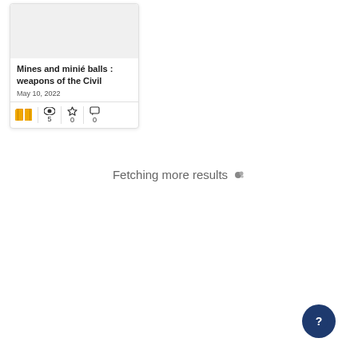[Figure (screenshot): A card thumbnail showing a book listing with title 'Mines and minié balls : weapons of the Civil', date 'May 10, 2022', and stats icons for views (5), favorites (0), and comments (0), with an orange book icon.]
Fetching more results
[Figure (other): A dark blue circular help button with a question mark icon, positioned in the bottom right corner.]